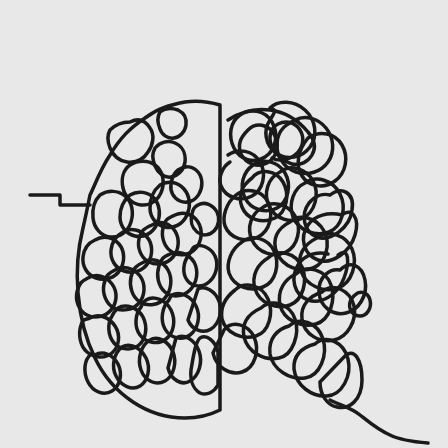[Figure (illustration): An illustration of a human brain split into two halves. The left hemisphere is depicted with orderly, maze-like wavy lines suggesting logical, structured thinking. The right hemisphere is depicted with chaotic, tangled, overlapping scribbled lines suggesting creativity or disorder. A short horizontal line with a small step extends from the left side of the brain, resembling a circuit or connector symbol.]